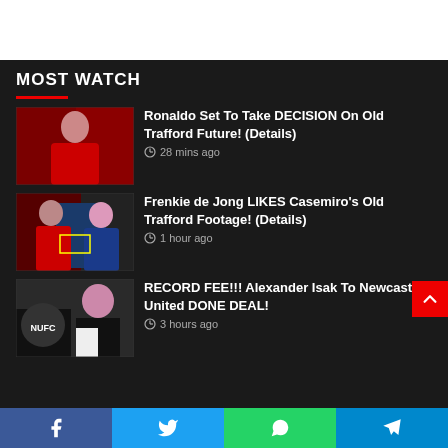[Figure (photo): White banner/advertisement area at top]
MOST WATCH
Ronaldo Set To Take DECISION On Old Trafford Future! (Details) — 28 mins ago
Frenkie de Jong LIKES Casemiro's Old Trafford Footage! (Details) — 1 hour ago
RECORD FEE!!! Alexander Isak To Newcastle United DONE DEAL! — 3 hours ago
Facebook | Twitter | WhatsApp | Telegram